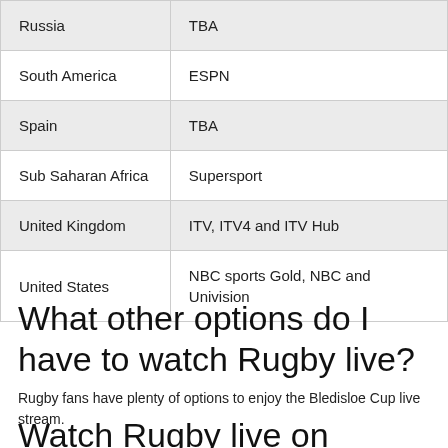| Russia | TBA |
| South America | ESPN |
| Spain | TBA |
| Sub Saharan Africa | Supersport |
| United Kingdom | ITV, ITV4 and ITV Hub |
| United States | NBC sports Gold, NBC and Univision |
What other options do I have to watch Rugby live?
Rugby fans have plenty of options to enjoy the Bledisloe Cup live stream.
Watch Rugby live on Facebook